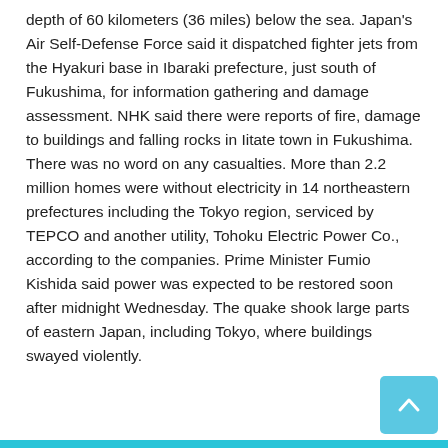depth of 60 kilometers (36 miles) below the sea. Japan's Air Self-Defense Force said it dispatched fighter jets from the Hyakuri base in Ibaraki prefecture, just south of Fukushima, for information gathering and damage assessment. NHK said there were reports of fire, damage to buildings and falling rocks in Iitate town in Fukushima. There was no word on any casualties. More than 2.2 million homes were without electricity in 14 northeastern prefectures including the Tokyo region, serviced by TEPCO and another utility, Tohoku Electric Power Co., according to the companies. Prime Minister Fumio Kishida said power was expected to be restored soon after midnight Wednesday. The quake shook large parts of eastern Japan, including Tokyo, where buildings swayed violently.
[Figure (infographic): Row of five social sharing icons: WhatsApp (green circle), Facebook (dark blue circle), Twitter (light blue circle), Email/envelope (gray circle), Messenger (light blue circle)]
[Figure (infographic): Facebook Like button showing 'Like 0' in blue, and a 'tweet' text link]